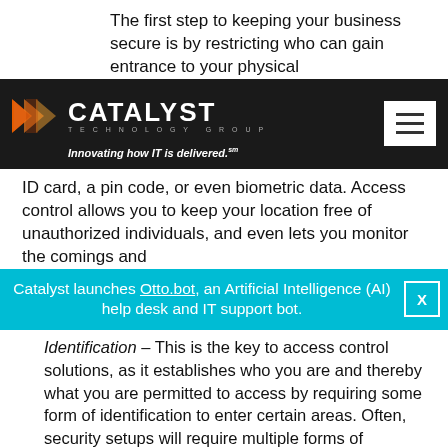The first step to keeping your business secure is by restricting who can gain entrance to your physical
[Figure (screenshot): Catalyst Technology Group navigation bar with orange arrow logo, company name, tagline 'Innovating how IT is delivered.' and hamburger menu icon on dark background]
ID card, a pin code, or even biometric data. Access control allows you to keep your location free of unauthorized individuals, and even lets you monitor the comings and
Catalyst launches Otto.bot, an Artificial Intelligence (AI) help desk and IT support bot. [X]
Identification – This is the key to access control solutions, as it establishes who you are and thereby what you are permitted to access by requiring some form of identification to enter certain areas. Often, security setups will require multiple forms of identification in order to authenticate your identity. This approach is known as 2FA, or 2-Factor Authentication. You've most likely seen this before– for example, if you've ever needed to enter a PIN number after providing a password.
Security and Monitoring
Quick– could you identify where everyone is in the building at this very instant, including visitors, clients, and